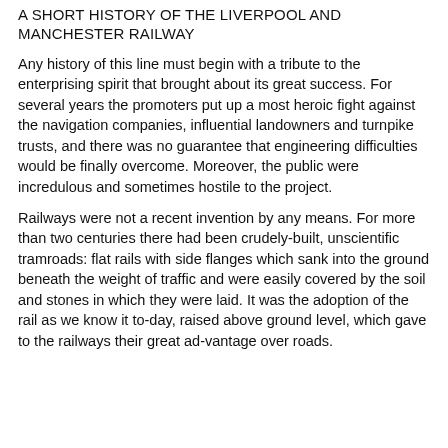A SHORT HISTORY OF THE LIVERPOOL AND MANCHESTER RAILWAY
Any history of this line must begin with a tribute to the enterprising spirit that brought about its great success. For several years the promoters put up a most heroic fight against the navigation companies, influential landowners and turnpike trusts, and there was no guarantee that engineering difficulties would be finally overcome. Moreover, the public were incredulous and sometimes hostile to the project.
Railways were not a recent invention by any means. For more than two centuries there had been crudely-built, unscientific tramroads: flat rails with side flanges which sank into the ground beneath the weight of traffic and were easily covered by the soil and stones in which they were laid. It was the adoption of the rail as we know it to-day, raised above ground level, which gave to the railways their great ad-vantage over roads.